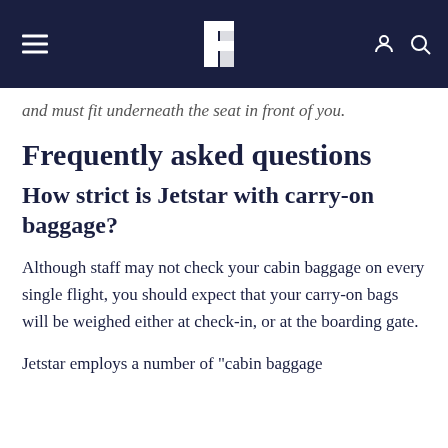Bt logo with hamburger menu and search/profile icons
and must fit underneath the seat in front of you.
Frequently asked questions
How strict is Jetstar with carry-on baggage?
Although staff may not check your cabin baggage on every single flight, you should expect that your carry-on bags will be weighed either at check-in, or at the boarding gate.
Jetstar employs a number of "cabin baggage